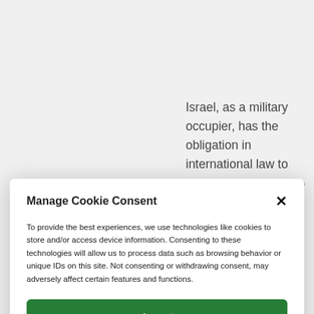Israel, as a military occupier, has the obligation in international law to bring its occupation to an end as soon as possible.  Military occupations.
Manage Cookie Consent
To provide the best experiences, we use technologies like cookies to store and/or access device information. Consenting to these technologies will allow us to process data such as browsing behavior or unique IDs on this site. Not consenting or withdrawing consent, may adversely affect certain features and functions.
Accept
Deny
View preferences
Cookie Policy